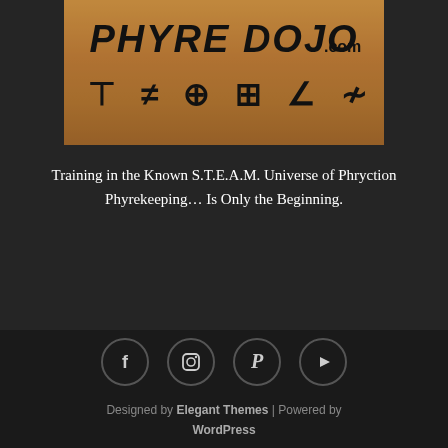[Figure (logo): PhyreDojo.com logo — stylized text 'PHYRE DOJO.com' and Asian/hieroglyphic-style characters below, on a bronze/golden textured background.]
Training in the Known S.T.E.A.M. Universe of Phryction Phyrekeeping… Is Only the Beginning.
Social icons (Facebook, Instagram, Pinterest, YouTube) | Designed by Elegant Themes | Powered by WordPress